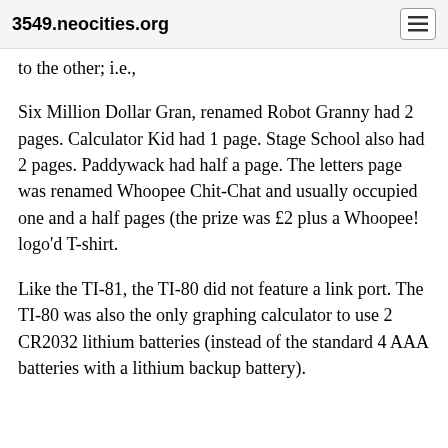3549.neocities.org
to the other; i.e.,
Six Million Dollar Gran, renamed Robot Granny had 2 pages. Calculator Kid had 1 page. Stage School also had 2 pages. Paddywack had half a page. The letters page was renamed Whoopee Chit-Chat and usually occupied one and a half pages (the prize was £2 plus a Whoopee! logo'd T-shirt.
Like the TI-81, the TI-80 did not feature a link port. The TI-80 was also the only graphing calculator to use 2 CR2032 lithium batteries (instead of the standard 4 AAA batteries with a lithium backup battery).